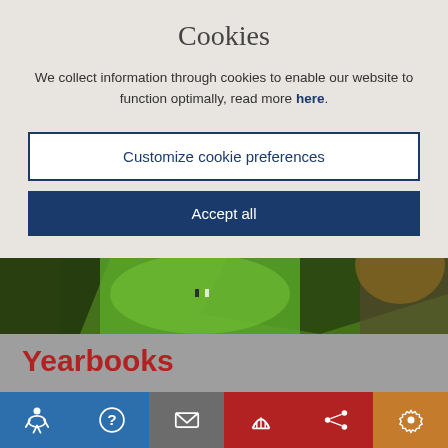Cookies
We collect information through cookies to enable our website to function optimally, read more here.
Customize cookie preferences
Accept all
[Figure (photo): Aerial view of a golf course with green fairway, trees casting shadows, and a path]
Yearbooks
2021
BACK